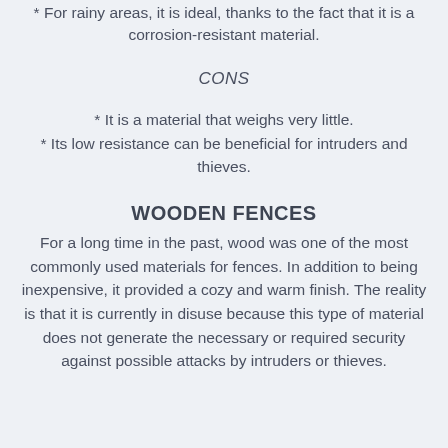* For rainy areas, it is ideal, thanks to the fact that it is a corrosion-resistant material.
CONS
* It is a material that weighs very little.
* Its low resistance can be beneficial for intruders and thieves.
WOODEN FENCES
For a long time in the past, wood was one of the most commonly used materials for fences. In addition to being inexpensive, it provided a cozy and warm finish. The reality is that it is currently in disuse because this type of material does not generate the necessary or required security against possible attacks by intruders or thieves.